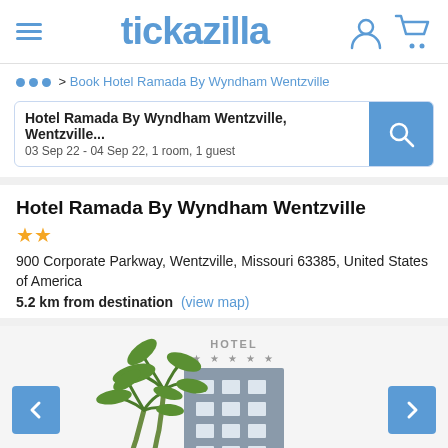tickazilla
... > Book Hotel Ramada By Wyndham Wentzville
Hotel Ramada By Wyndham Wentzville, Wentzville...
03 Sep 22 - 04 Sep 22, 1 room, 1 guest
Hotel Ramada By Wyndham Wentzville
900 Corporate Parkway, Wentzville, Missouri 63385, United States of America
5.2 km from destination (view map)
[Figure (illustration): Hotel illustration with palm trees and a multi-story building labeled HOTEL with stars, with left and right carousel navigation arrows]